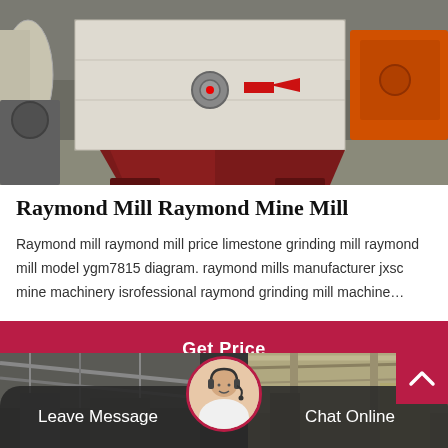[Figure (photo): Industrial grinding mill machine (Raymond Mill) in a factory setting. The machine is beige/cream colored with dark red supports, with an orange machine visible to the right and industrial equipment in the background.]
Raymond Mill Raymond Mine Mill
Raymond mill raymond mill price limestone grinding mill raymond mill model ygm7815 diagram. raymond mills manufacturer jxsc mine machinery isrofessional raymond grinding mill machine…
Get Price
[Figure (photo): Industrial factory interior with overhead steel structure, partially visible in bottom image strip.]
Leave Message
Chat Online